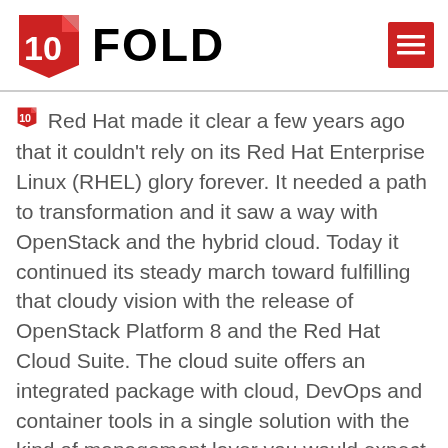[Figure (logo): 10Fold logo with red origami-style icon and bold FOLD text]
Red Hat made it clear a few years ago that it couldn't rely on its Red Hat Enterprise Linux (RHEL) glory forever. It needed a path to transformation and it saw a way with OpenStack and the hybrid cloud. Today it continued its steady march toward fulfilling that cloudy vision with the release of OpenStack Platform 8 and the Red Hat Cloud Suite. The cloud suite offers an integrated package with cloud, DevOps and container tools in a single solution with the kind of management layer you would expect in such a suite. It combines Red Hat OpenStack with Red Hat OpenShift, its container environment and CloudForms for overall management and the ability to add self-service in a private cloud setting. The idea is to provide an integrated